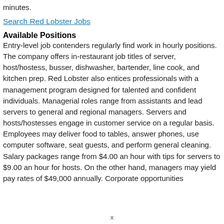minutes.
Search Red Lobster Jobs
Available Positions
Entry-level job contenders regularly find work in hourly positions. The company offers in-restaurant job titles of server, host/hostess, busser, dishwasher, bartender, line cook, and kitchen prep. Red Lobster also entices professionals with a management program designed for talented and confident individuals. Managerial roles range from assistants and lead servers to general and regional managers. Servers and hosts/hostesses engage in customer service on a regular basis. Employees may deliver food to tables, answer phones, use computer software, seat guests, and perform general cleaning. Salary packages range from $4.00 an hour with tips for servers to $9.00 an hour for hosts. On the other hand, managers may yield pay rates of $49,000 annually. Corporate opportunities